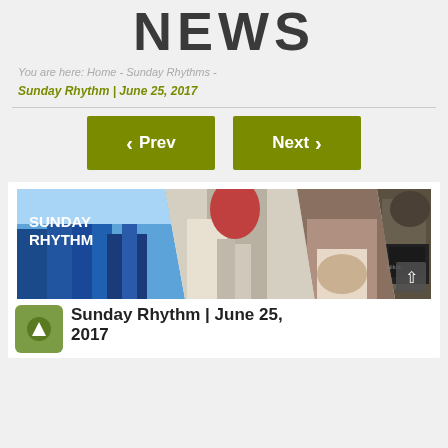NEWS
You are here: Home - Sunday Rhythms -
Sunday Rhythm | June 25, 2017
[Figure (screenshot): Navigation buttons: Prev and Next, olive/dark yellow color]
[Figure (photo): Banner collage showing Sunday Rhythm text over city skyline, person walking, food/drink, child with Nikon camera, and partial bag image]
Sunday Rhythm | June 25, 2017